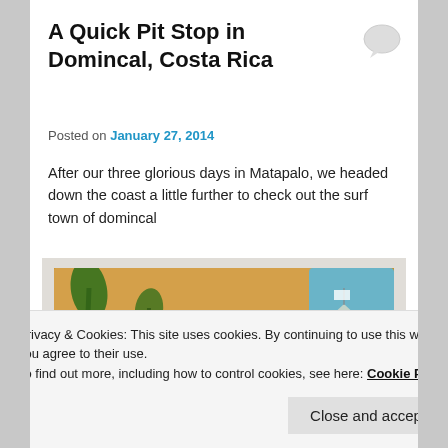A Quick Pit Stop in Domincal, Costa Rica
Posted on January 27, 2014
After our three glorious days in Matapalo, we headed down the coast a little further to check out the surf town of domincal
[Figure (illustration): A hand-drawn treasure map style illustration of a coastal area with palm trees, a sailing ship, and dotted paths on a sandy/orange background.]
Privacy & Cookies: This site uses cookies. By continuing to use this website, you agree to their use.
To find out more, including how to control cookies, see here: Cookie Policy